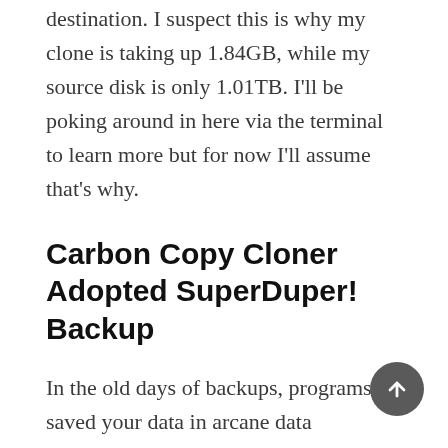destination. I suspect this is why my clone is taking up 1.84GB, while my source disk is only 1.01TB. I'll be poking around in here via the terminal to learn more but for now I'll assume that's why.
Carbon Copy Cloner Adopted SuperDuper! Backup
In the old days of backups, programs saved your data in arcane data structures inoperable by anything but themselves. You had little opportunity to verify your backups and you could never migrate a backup to a new tool. One of the great joys of modern-day clone backups is that they look just like the source data. With a clone, you should see a duplicate of your